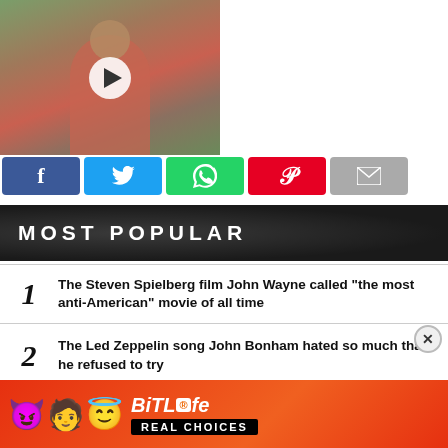[Figure (screenshot): Video thumbnail showing a person in a pink shirt with a play button overlay]
[Figure (infographic): Social share buttons: Facebook (blue f), Twitter (blue bird), WhatsApp (green phone), Pinterest (red P), Email (grey envelope)]
MOST POPULAR
1 The Steven Spielberg film John Wayne called “the most anti-American” movie of all time
2 The Led Zeppelin song John Bonham hated so much that he refused to try
3 Charlie Watts’ favourite Rolling Stones song of all time
The song Bob Dylan ruined: “That could...
[Figure (infographic): BitLife Real Choices advertisement banner with emoji characters]